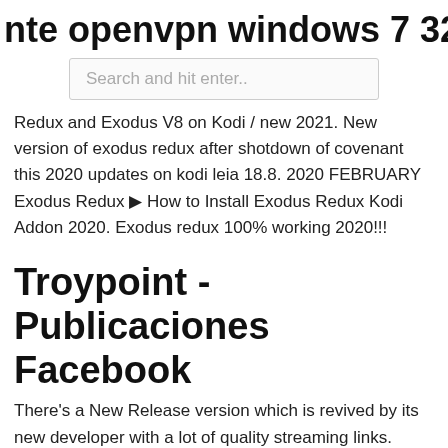nte openvpn windows 7 32 bit desca
Search and hit enter..
Redux and Exodus V8 on Kodi / new 2021. New version of exodus redux after shotdown of covenant this 2020 updates on kodi leia 18.8. 2020 FEBRUARY Exodus Redux ▶ How to Install Exodus Redux Kodi Addon 2020. Exodus redux 100% working 2020!!!
Troypoint - Publicaciones Facebook
There's a New Release version which is revived by its new developer with a lot of quality streaming links. Exodus Redux Repo. 14. Complementos para video. 15.
zsj
eHu
CxQQ
fBz
Eb